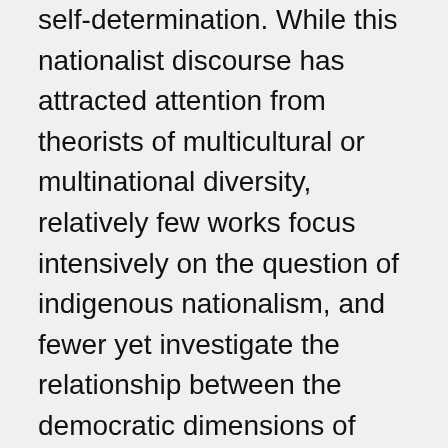self-determination. While this nationalist discourse has attracted attention from theorists of multicultural or multinational diversity, relatively few works focus intensively on the question of indigenous nationalism, and fewer yet investigate the relationship between the democratic dimensions of indigenous nationalism and the distinctive challenges associated with its implementation in concrete cases and contexts. This chapter attempts to fill some of these gaps in our understanding of indigenous nationalism. First, it develops a theoretical understanding of indigenous nationalism in terms of three interrelated dimensions of democratic self-